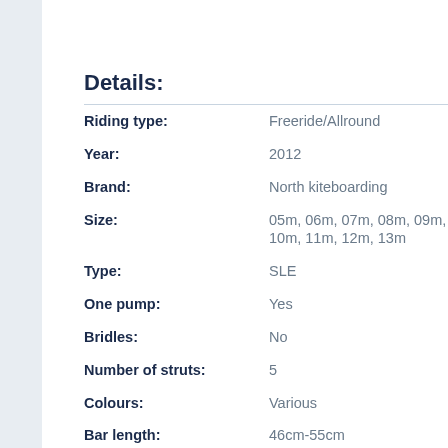Details:
| Property | Value |
| --- | --- |
| Riding type: | Freeride/Allround |
| Year: | 2012 |
| Brand: | North kiteboarding |
| Size: | 05m, 06m, 07m, 08m, 09m, 10m, 11m, 12m, 13m |
| Type: | SLE |
| One pump: | Yes |
| Bridles: | No |
| Number of struts: | 5 |
| Colours: | Various |
| Bar length: | 46cm-55cm |
| Line length: | 25m |
| Bar: | 5 lines |
| Depower: | Clamcleat |
| Safety: | Push |
| Swivel: | Yes |
| Height bar length: | Yes |